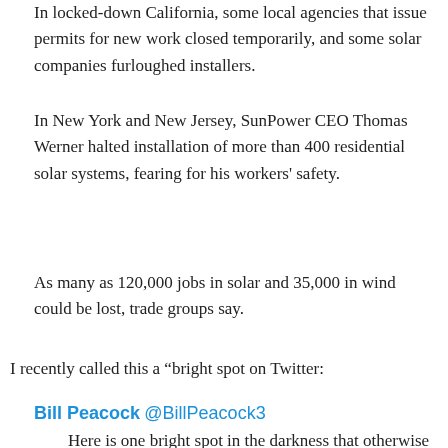In locked-down California, some local agencies that issue permits for new work closed temporarily, and some solar companies furloughed installers.
In New York and New Jersey, SunPower CEO Thomas Werner halted installation of more than 400 residential solar systems, fearing for his workers' safety.
As many as 120,000 jobs in solar and 35,000 in wind could be lost, trade groups say.
I recently called this a “bright spot on Twitter:
Bill Peacock @BillPeacock3
Here is one bright spot in the darkness that otherwise surrounds our response to COVID19. #endrenewableenergysubsidies https://twi